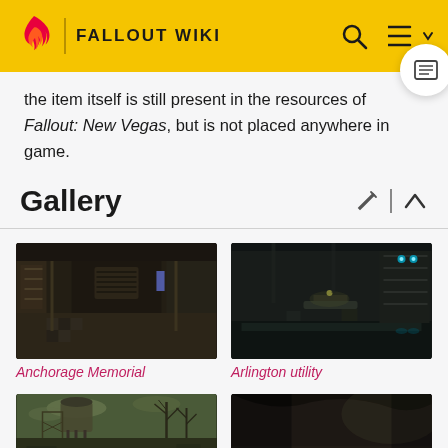FALLOUT WIKI
the item itself is still present in the resources of Fallout: New Vegas, but is not placed anywhere in game.
Gallery
[Figure (photo): Anchorage Memorial interior - dark corridor with shelving and industrial setting]
Anchorage Memorial
[Figure (photo): Arlington utility interior - dim room with flooded floor and metal shelving]
Arlington utility
[Figure (photo): Exterior post-apocalyptic scene with water tower and dead trees]
[Figure (photo): Cave or tunnel interior with debris on ground]